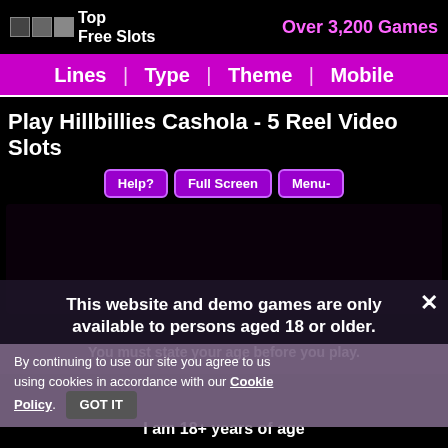Top Free Slots | Over 3,200 Games
Lines | Type | Theme | Mobile
Play Hillbillies Cashola - 5 Reel Video Slots
Help? | Full Screen | Menu-
[Figure (screenshot): Dark game area for Hillbillies Cashola slot machine]
This website and demo games are only available to persons aged 18 or older.
You must state your age before you play.
By continuing to use our site you agree to us using cookies in accordance with our Cookie Policy.
GOT IT
I am 18+ years of age